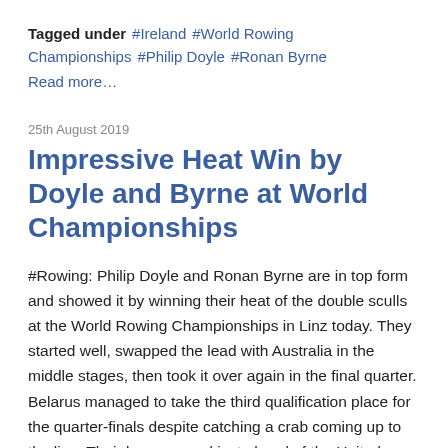Tagged under #Ireland #World Rowing Championships #Philip Doyle #Ronan Byrne
Read more…
25th August 2019
Impressive Heat Win by Doyle and Byrne at World Championships
#Rowing: Philip Doyle and Ronan Byrne are in top form and showed it by winning their heat of the double sculls at the World Rowing Championships in Linz today. They started well, swapped the lead with Australia in the middle stages, then took it over again in the final quarter. Belarus managed to take the third qualification place for the quarter-finals despite catching a crab coming up to the line. Their bow crossed just ahead of the United States.